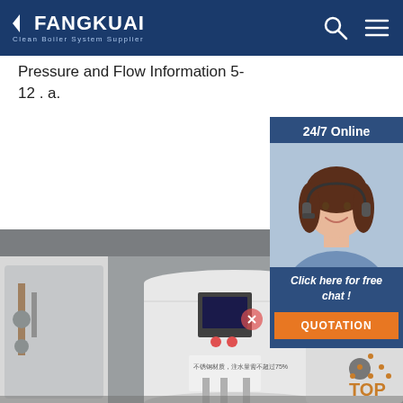FANGKUAI — Clean Boiler System Supplier
Pressure and Flow Information 5-12 . a.
Get Price
24/7 Online
[Figure (photo): Customer service agent with headset, smiling]
Click here for free chat !
QUOTATION
[Figure (photo): Industrial electric boilers in a facility, white cylindrical units with control panels]